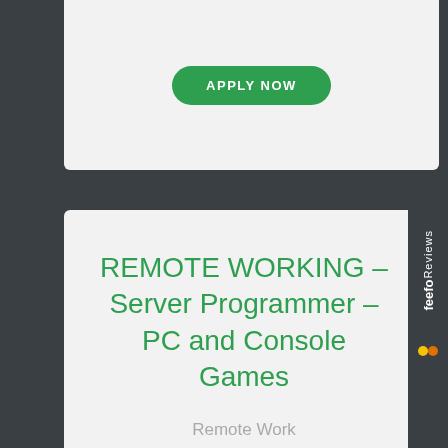[Figure (screenshot): Top portion of a job listing card with a green 'APPLY NOW' button on a light grey background, partially visible]
REMOTE WORKING – Server Programmer – PC and Console Games
Remote Work
[Figure (screenshot): Green rounded 'APPLY NOW' button]
[Figure (logo): Feefo Reviews logo on dark sidebar, rotated vertically]